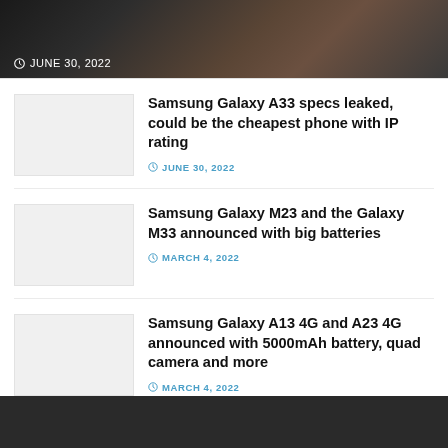[Figure (photo): Top banner image showing smartphone devices with dark, textured background. Date overlay: JUNE 30, 2022]
Samsung Galaxy A33 specs leaked, could be the cheapest phone with IP rating
JUNE 30, 2022
Samsung Galaxy M23 and the Galaxy M33 announced with big batteries
MARCH 4, 2022
Samsung Galaxy A13 4G and A23 4G announced with 5000mAh battery, quad camera and more
MARCH 4, 2022